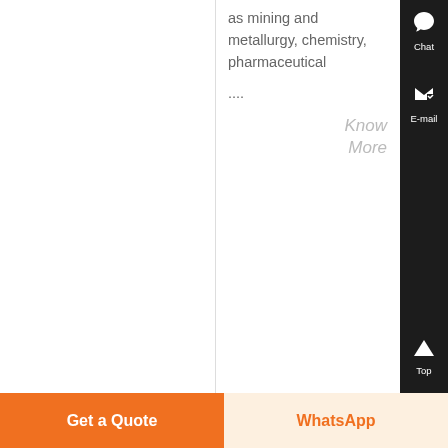as mining and metallurgy, chemistry, pharmaceutical ....
Know More
[Figure (photo): A large mobile stone crushing machine/truck parked outside an industrial building]
rotor crush sampler uk
stone crushing project and equipment niger...
Get a Quote
WhatsApp